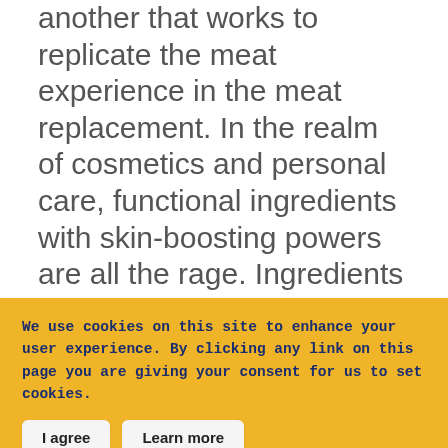another that works to replicate the meat experience in the meat replacement. In the realm of cosmetics and personal care, functional ingredients with skin-boosting powers are all the rage. Ingredients known to be safe as food are used as excipients in pharmaceuticals. Learning about an innovative ingredient and potential co-formulants in advance can support a reduced time to
We use cookies on this site to enhance your user experience. By clicking any link on this page you are giving your consent for us to set cookies.